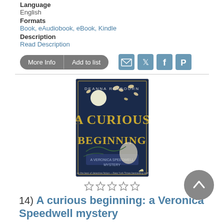Language
English
Formats
Book, eAudiobook, eBook, Kindle
Description
Read Description
[Figure (illustration): Book cover of 'A Curious Beginning' by Deanna Raybourn, showing a dark blue background with butterflies, a moon, and gold lettering]
14)  A curious beginning: a Veronica Speedwell mystery